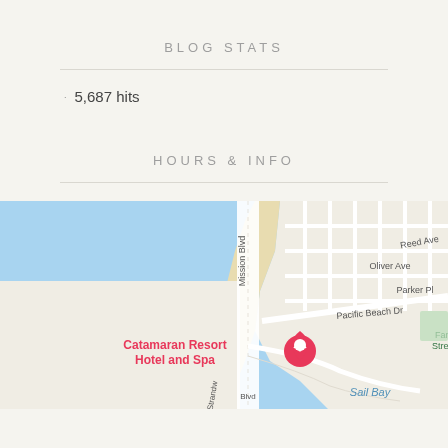BLOG STATS
5,687 hits
HOURS & INFO
[Figure (map): Google Maps view showing Catamaran Resort Hotel and Spa at Mission Blvd, Pacific Beach, San Diego. Map shows Reed Ave, Oliver Ave, Pacific Beach Dr, Parker Pl, Fanu Street, Strandw, Blvd, and Sail Bay. A pink map pin marks the Catamaran Resort Hotel and Spa location.]